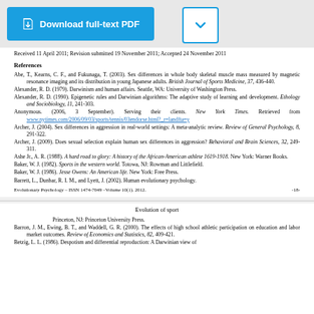Received 11 April 2011; Revision submitted 19 November 2011; Accepted 24 November 2011
References
Abe, T., Kearns, C. F., and Fukunaga, T. (2003). Sex differences in whole body skeletal muscle mass measured by magnetic resonance imaging and its distribution in young Japanese adults. British Journal of Sports Medicine, 37, 436-440.
Alexander, R. D. (1979). Darwinism and human affairs. Seattle, WA: University of Washington Press.
Alexander, R. D. (1990). Epigenetic rules and Darwinian algorithms: The adaptive study of learning and development. Ethology and Sociobiology, 11, 241-303.
Anonymous. (2006, 3 September). Serving their clients. New York Times. Retrieved from www.nytimes.com/2006/09/03/sports/tennis/03endorse.html?_r=landfta=y
Archer, J. (2004). Sex differences in aggression in real-world settings: A meta-analytic review. Review of General Psychology, 8, 291-322.
Archer, J. (2009). Does sexual selection explain human sex differences in aggression? Behavioral and Brain Sciences, 32, 249-311.
Ashe Jr., A. R. (1988). A hard road to glory: A history of the African-American athlete 1619-1918. New York: Warner Books.
Baker, W. J. (1982). Sports in the western world. Totowa, NJ: Rowman and Littlefield.
Baker, W. J. (1986). Jesse Owens: An American life. New York: Free Press.
Barrett, L., Dunbar, R. I. M., and Lyett, J. (2002). Human evolutionary psychology.
Evolutionary Psychology – ISSN 1474-7049 –Volume 10(1). 2012.                                        -18-
Evolution of sport
Princeton, NJ: Princeton University Press.
Barron, J. M., Ewing, B. T., and Waddell, G. R. (2000). The effects of high school athletic participation on education and labor market outcomes. Review of Economics and Statistics, 82, 409-421.
Betzig, L. L. (1986). Despotism and differential reproduction: A Darwinian view of